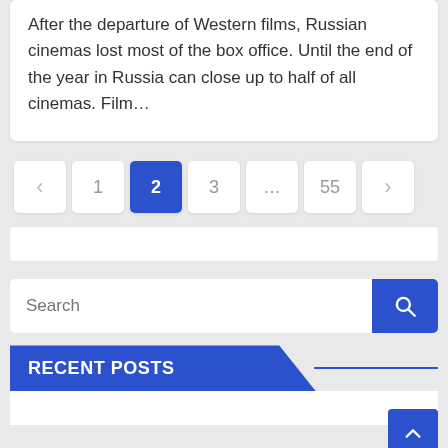After the departure of Western films, Russian cinemas lost most of the box office. Until the end of the year in Russia can close up to half of all cinemas. Film…
[Figure (screenshot): Pagination controls showing previous arrow, pages 1, 2 (active/highlighted in blue), 3, ellipsis, 55, and next arrow]
[Figure (screenshot): White advertisement bar]
[Figure (screenshot): Search input box with placeholder 'Search' and blue search button with magnifying glass icon]
RECENT POSTS
[Figure (screenshot): White box at the bottom (recent posts content area), with a blue scroll-to-top button in the bottom right corner showing an up arrow]